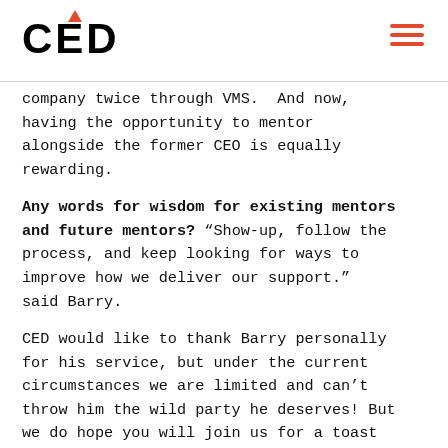CED
company twice through VMS.  And now, having the opportunity to mentor alongside the former CEO is equally rewarding.
Any words for wisdom for existing mentors and future mentors? “Show-up, follow the process, and keep looking for ways to improve how we deliver our support.” said Barry.
CED would like to thank Barry personally for his service, but under the current circumstances we are limited and can’t throw him the wild party he deserves! But we do hope you will join us for a toast